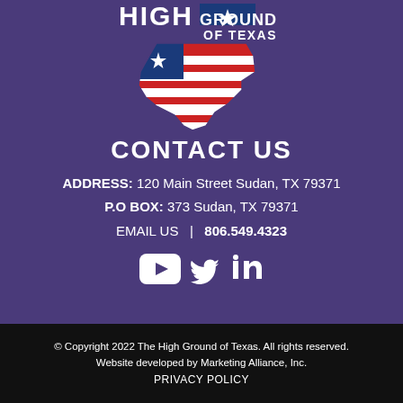[Figure (logo): High Ground of Texas logo — Texas state shape with American flag stripes (red and white) and a blue star in upper left, with 'HIGH GROUND OF TEXAS' text above]
CONTACT US
ADDRESS: 120 Main Street Sudan, TX 79371
P.O BOX: 373 Sudan, TX 79371
EMAIL US  |  806.549.4323
[Figure (infographic): Social media icons: YouTube, Twitter (bird), LinkedIn]
© Copyright 2022 The High Ground of Texas. All rights reserved.
Website developed by Marketing Alliance, Inc.
PRIVACY POLICY